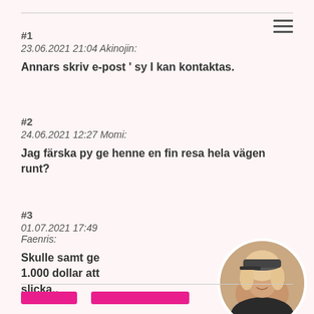#1
23.06.2021 21:04 Akinojin:

Annars skriv e-post ' sy I kan kontaktas.
#2
24.06.2021 12:27 Momi:

Jag färska py ge henne en fin resa hela vägen runt?
#3
01.07.2021 17:49 Faenris:

Skulle samt ge 1.000 dollar att slicka..
[Figure (photo): Circular avatar photo of a woman with blonde curly hair wearing a dark top and a cap]